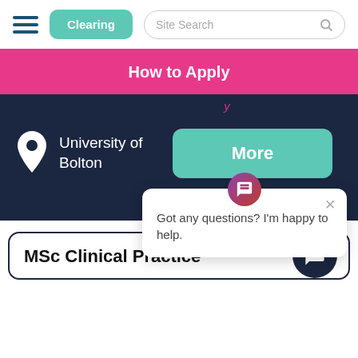Clearing | Site Search
How to Apply
University of Bolton
More
Got any questions? I'm happy to help.
MSc Clinical Practice